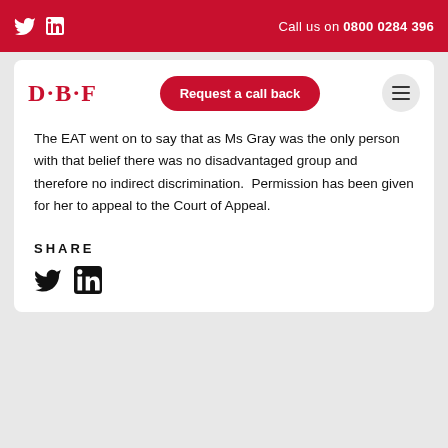Call us on 0800 0284 396
[Figure (logo): DBF law firm logo with red D·B·F text]
The EAT went on to say that as Ms Gray was the only person with that belief there was no disadvantaged group and therefore no indirect discrimination.  Permission has been given for her to appeal to the Court of Appeal.
SHARE